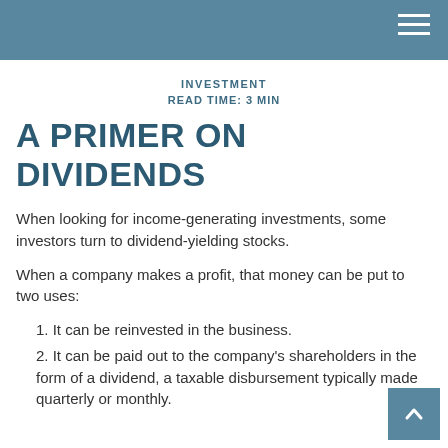INVESTMENT
READ TIME: 3 MIN
A PRIMER ON DIVIDENDS
When looking for income-generating investments, some investors turn to dividend-yielding stocks.
When a company makes a profit, that money can be put to two uses:
1. It can be reinvested in the business.
2. It can be paid out to the company's shareholders in the form of a dividend, a taxable disbursement typically made quarterly or monthly.